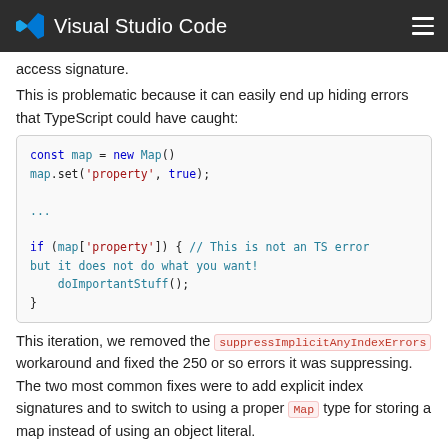Visual Studio Code
access signature.
This is problematic because it can easily end up hiding errors that TypeScript could have caught:
[Figure (screenshot): Code block showing TypeScript Map usage with comment 'This is not an TS error but it does not do what you want!']
This iteration, we removed the suppressImplicitAnyIndexErrors workaround and fixed the 250 or so errors it was suppressing. The two most common fixes were to add explicit index signatures and to switch to using a proper Map type for storing a map instead of using an object literal.